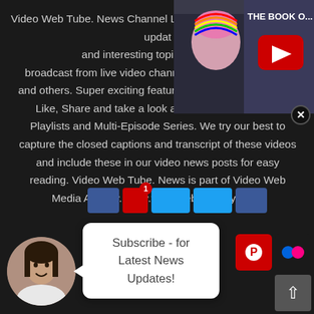Video Web Tube. News Channel LIVE video and article news updates and interesting topics. We stream broadcast from live video channels like Youtube, Vimeo and others. Super exciting features and please feel free to Like, Share and take a look at the Video Channels, Playlists and Multi-Episode Series. We try our best to capture the closed captions and transcript of these videos and include these in our video news posts for easy reading. Video Web Tube. News is part of Video Web Media Agency. www.videowebmastery.co.uk
[Figure (screenshot): YouTube video thumbnail showing a woman with pink hair and text 'THE BOOK O...' with YouTube play button overlay]
[Figure (photo): Circular avatar of a smiling woman with dark hair]
Subscribe - for Latest News Updates!